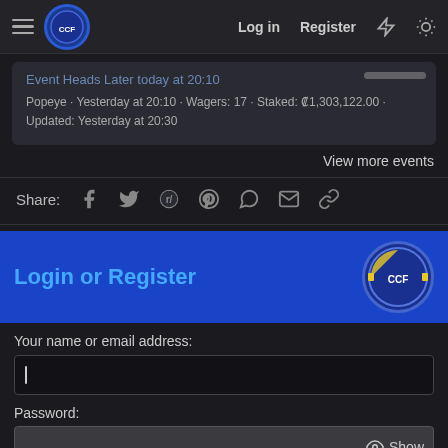Cardiff City Forum — Log in | Register
Event Heads Later today at 20:10
Popeye · Yesterday at 20:10 · Wagers: 17 · Staked: ₡1,303,122.00 · Updated: Yesterday at 20:30
View more events
Share: [Facebook] [Twitter] [Reddit] [Pinterest] [WhatsApp] [Email] [Link]
Login or Register
Your name or email address:
Password:
Forgot your password?
Stay logged in